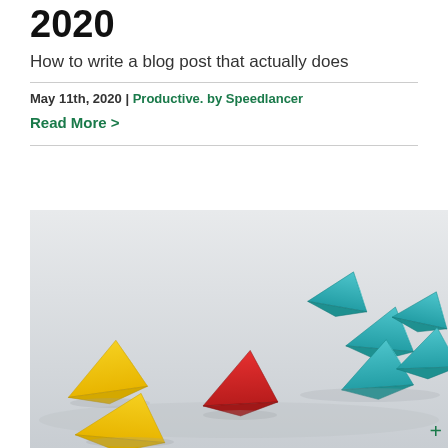2020
How to write a blog post that actually does
May 11th, 2020 | Productive. by Speedlancer
Read More >
[Figure (photo): Photo of colorful paper origami boats on a light grey surface. Yellow boats in the foreground left, a red boat in the center, and teal/cyan boats in the upper right, suggesting a leadership or direction concept.]